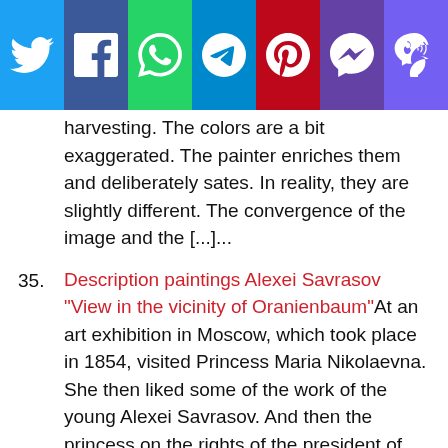[Figure (other): Social sharing bar with icons for Twitter, Facebook, WhatsApp, Telegram, Pinterest, Messenger, and Viber]
harvesting. The colors are a bit exaggerated. The painter enriches them and deliberately sates. In reality, they are slightly different. The convergence of the image and the [...]...
35. Description paintings Alexei Savrasov "View in the vicinity of Oranienbaum" At an art exhibition in Moscow, which took place in 1854, visited Princess Maria Nikolaevna. She then liked some of the work of the young Alexei Savrasov. And then the princess on the rights of the president of the Imperial Academy of Arts announced to the artist an invitation to his residence. There was a [...]...
36. Description of the painting by Ivan Aivazovsky "Sea View" In 1867, when the era of romanticism flourishes, Ivan Konstantinovich Aivazovsky wrote his famous painting "Sea View". The size of the